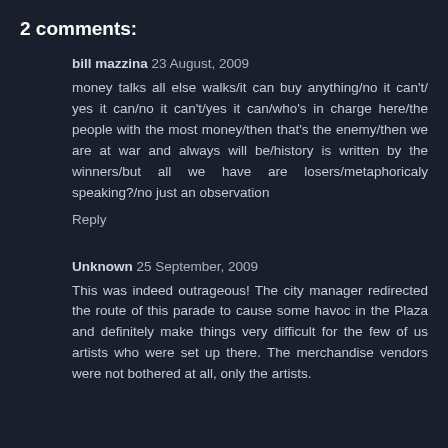2 comments:
bill mazzina  23 August, 2009
money talks all else walks/it can buy anything/no it can't/ yes it can/no it can't/yes it can/who's in charge here/the people with the most money/then that's the enemy/then we are at war and always will be/history is written by the winners/but all we have are losers/metaphoricaly speaking?/no just an observation
Reply
Unknown  25 September, 2009
This was indeed outrageous! The city manager redirected the route of this parade to cause some havoc in the Plaza and definitely make things very difficult for the few of us artists who were set up there. The merchandise vendors were not bothered at all, only the artists.